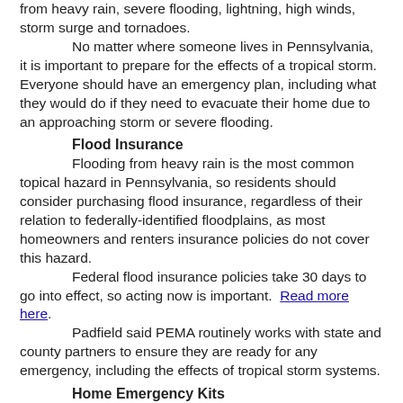from heavy rain, severe flooding, lightning, high winds, storm surge and tornadoes.
No matter where someone lives in Pennsylvania, it is important to prepare for the effects of a tropical storm. Everyone should have an emergency plan, including what they would do if they need to evacuate their home due to an approaching storm or severe flooding.
Flood Insurance
Flooding from heavy rain is the most common topical hazard in Pennsylvania, so residents should consider purchasing flood insurance, regardless of their relation to federally-identified floodplains, as most homeowners and renters insurance policies do not cover this hazard.
Federal flood insurance policies take 30 days to go into effect, so acting now is important. Read more here.
Padfield said PEMA routinely works with state and county partners to ensure they are ready for any emergency, including the effects of tropical storm systems.
Home Emergency Kits
Families should check to make sure their home emergency kits are fully stocked with essential items, as power can take days to restore after a tropical storm or hurricane. A home emergency kit should contain-- -- non-perishable food: